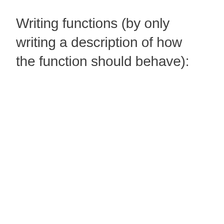Writing functions (by only writing a description of how the function should behave):